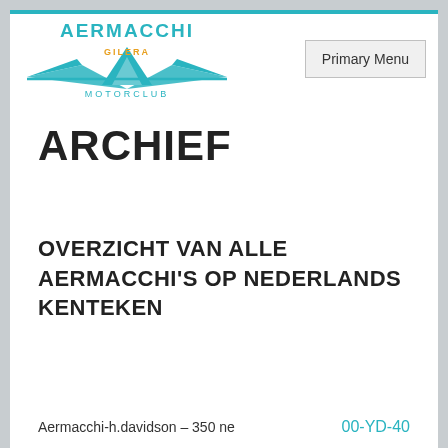[Figure (logo): Aermacchi Gilera Motorclub logo with teal/cyan mountains and wings graphic, text AERMACCHI in arc, GILERA in orange, MOTORCLUB below]
Primary Menu
ARCHIEF
OVERZICHT VAN ALLE AERMACCHI'S OP NEDERLANDS KENTEKEN
Aermacchi-h.davidson – 350 ne   00-YD-40